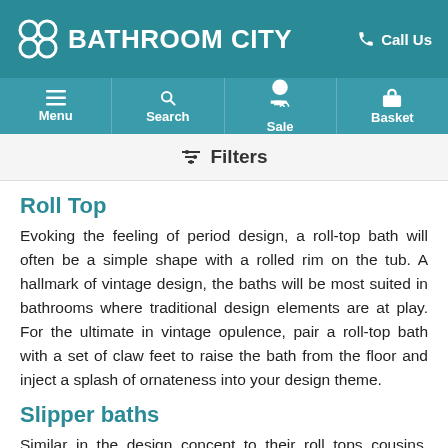BATHROOM CITY  Call Us
Menu  Search  Sale  Basket
≡ Filters
Roll Top
Evoking the feeling of period design, a roll-top bath will often be a simple shape with a rolled rim on the tub. A hallmark of vintage design, the baths will be most suited in bathrooms where traditional design elements are at play. For the ultimate in vintage opulence, pair a roll-top bath with a set of claw feet to raise the bath from the floor and inject a splash of ornateness into your design theme.
Slipper baths
Similar in the design concept to their roll tops cousins, slipper baths will feature a raised end for a sweeping